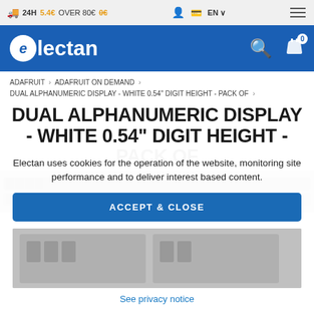24H 5.4€ OVER 80€ 0€ | EN
[Figure (logo): Electan logo on blue navigation bar with search and cart icons]
ADAFRUIT > ADAFRUIT ON DEMAND > DUAL ALPHANUMERIC DISPLAY - WHITE 0.54" DIGIT HEIGHT - PACK OF >
DUAL ALPHANUMERIC DISPLAY - WHITE 0.54" DIGIT HEIGHT - PACK OF
[Figure (photo): Product photo of dual alphanumeric display modules]
Electan uses cookies for the operation of the website, monitoring site performance and to deliver interest based content.
ACCEPT & CLOSE
See privacy notice